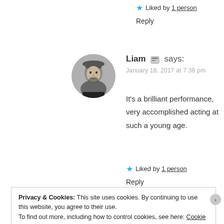★ Liked by 1 person
Reply
[Figure (photo): Circular avatar photo of a man wearing a hat, black and white]
Liam 🖼 says:
January 18, 2017 at 7:38 pm
It's a brilliant performance, very accomplished acting at such a young age.
★ Liked by 1 person
Reply
Privacy & Cookies: This site uses cookies. By continuing to use this website, you agree to their use.
To find out more, including how to control cookies, see here: Cookie Policy
Close and accept